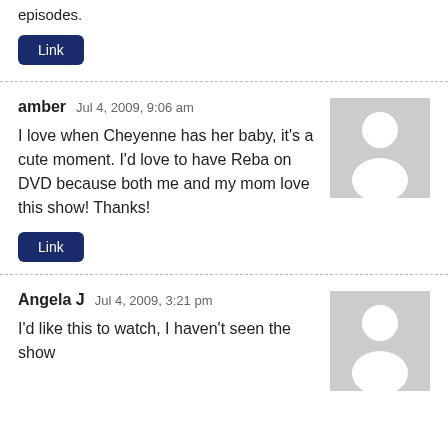episodes.
Link
amber   Jul 4, 2009, 9:06 am
I love when Cheyenne has her baby, it's a cute moment. I'd love to have Reba on DVD because both me and my mom love this show! Thanks!
Link
Angela J   Jul 4, 2009, 3:21 pm
I'd like this to watch, I haven't seen the show